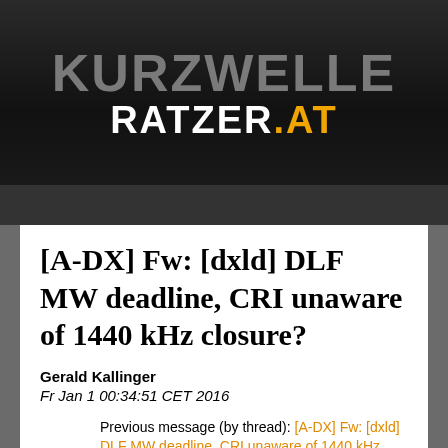[Figure (logo): Kurzwelle Ratzer.at website logo — dark background with 'KURZWELLE' in gray and 'RATZER.AT' in white and orange]
[A-DX] Fw: [dxld] DLF MW deadline, CRI unaware of 1440 kHz closure?
Gerald Kallinger
Fr Jan 1 00:34:51 CET 2016
Previous message (by thread): [A-DX] Fw: [dxld] DLF MW deadline, CRI unaware of 1440 kHz closure?
Next message (by thread): [A-DX] Fw: [dxld]